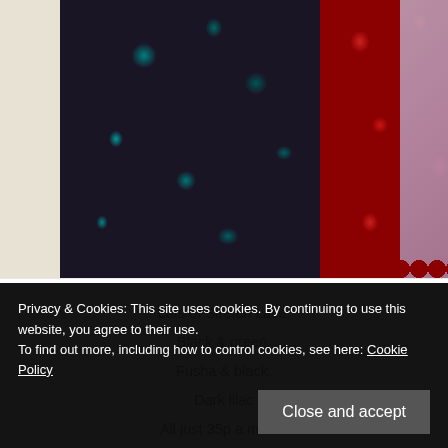[Figure (photo): Photo of stretch lace fabric samples: black and green lace on the left, red lace in the middle, and partial view of lilac/purple lace on the right, laid on a light background.]
Lots of Stretch Lace:
Black & green,
Fusha & black,
Dark lilac
All just 35p a meter!
[Figure (photo): Photo partially visible showing what appears to be a purple/violet bowl or dish on a light background.]
Privacy & Cookies: This site uses cookies. By continuing to use this website, you agree to their use.
To find out more, including how to control cookies, see here: Cookie Policy
Close and accept